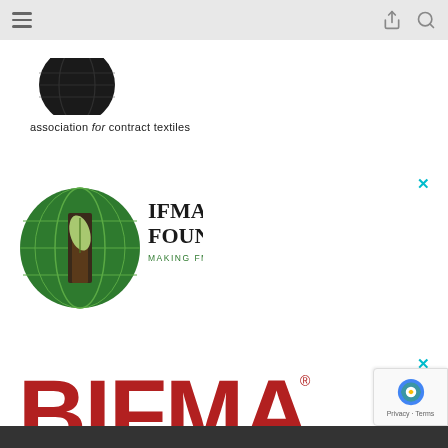Navigation header bar with hamburger menu, share icon, and search icon
[Figure (logo): Partial circular logo for Association for Contract Textiles (ACT) — dark/black circular emblem cropped at top, with text 'association for contract textiles' below]
[Figure (logo): IFMA Foundation logo — green globe with leaf/door emblem on left, text 'IFMA FOUNDATION' in large serif type, 'MAKING FM A CAREER OF CHOICE' in green below, with a cyan X close button]
[Figure (logo): BIFMA logo — large bold red letters 'BIFMA' with superscript registered trademark symbol, with a cyan X close button]
Dark footer bar